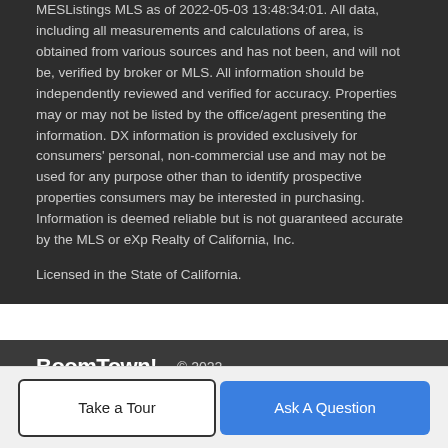MESListings MLS as of 2022-05-03 13:48:34:01. All data, including all measurements and calculations of area, is obtained from various sources and has not been, and will not be, verified by broker or MLS. All information should be independently reviewed and verified for accuracy. Properties may or may not be listed by the office/agent presenting the information. DX information is provided exclusively for consumers' personal, non-commercial use and may not be used for any purpose other than to identify prospective properties consumers may be interested in purchasing. Information is deemed reliable but is not guaranteed accurate by the MLS or eXp Realty of California, Inc.
Licensed in the State of California.
BoomTown! © 2022 | Terms of Use | Privacy Policy | Accessibility | DMCA | Listings Sitemap
Take a Tour
Ask A Question